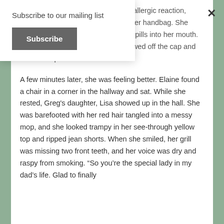Subscribe to our mailing list
Subscribe
turned tomato red. Now fighting an allergic reaction, Elaine grabbed her Benadryl from her handbag. She twisted off the cap and popped four pills into her mouth. Then she grabbed her inhaler, screwed off the cap and took three puffs.
A few minutes later, she was feeling better. Elaine found a chair in a corner in the hallway and sat. While she rested, Greg's daughter, Lisa showed up in the hall. She was barefooted with her red hair tangled into a messy mop, and she looked trampy in her see-through yellow top and ripped jean shorts. When she smiled, her grill was missing two front teeth, and her voice was dry and raspy from smoking. “So you’re the special lady in my dad’s life. Glad to finally